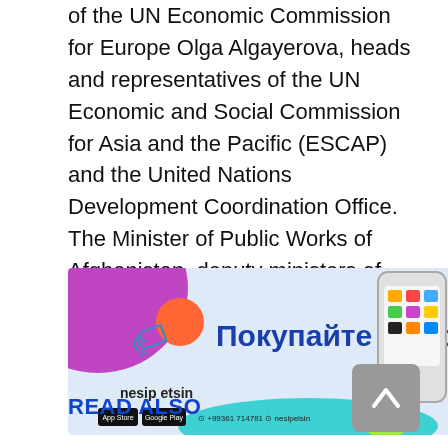of the UN Economic Commission for Europe Olga Algayerova, heads and representatives of the UN Economic and Social Commission for Asia and the Pacific (ESCAP) and the United Nations Development Coordination Office. The Minister of Public Works of Afghanistan, deputy ministers of Transport of Azerbaijan, Georgia, Kazakhstan, Kyrgyzstan, Tajikistan and Uzbekistan also took part in the meeting.
[Figure (other): Advertisement banner for 'nesip etsin' app featuring Russian text 'Покупайте выгодно!' (Buy profitably!), colorful blobs, a smartphone mockup, app store buttons, phone number +99361 714781 and Instagram handle @nesipelsin]
READ ALSO